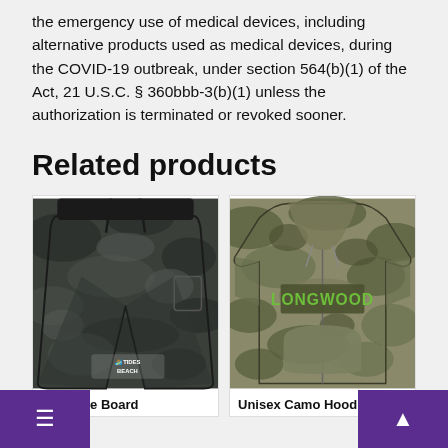the emergency use of medical devices, including alternative products used as medical devices, during the COVID-19 outbreak, under section 564(b)(1) of the Act, 21 U.S.C. § 360bbb-3(b)(1) unless the authorization is terminated or revoked sooner.
Related products
[Figure (photo): Burnside Board Shorts in dark camouflage pattern with 'Tides Beach' logo]
[Figure (photo): Unisex Camo Hoodie in green camouflage pattern with 'LONGWOOD' text on chest]
Burnside Board
Unisex Camo Hoodie